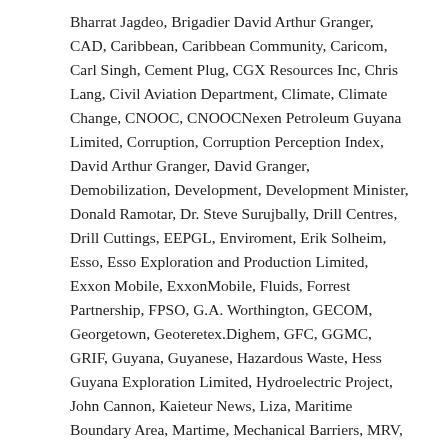Bharrat Jagdeo, Brigadier David Arthur Granger, CAD, Caribbean, Caribbean Community, Caricom, Carl Singh, Cement Plug, CGX Resources Inc, Chris Lang, Civil Aviation Department, Climate, Climate Change, CNOOC, CNOOCNexen Petroleum Guyana Limited, Corruption, Corruption Perception Index, David Arthur Granger, David Granger, Demobilization, Development, Development Minister, Donald Ramotar, Dr. Steve Surujbally, Drill Centres, Drill Cuttings, EEPGL, Enviroment, Erik Solheim, Esso, Esso Exploration and Production Limited, Exxon Mobile, ExxonMobile, Fluids, Forrest Partnership, FPSO, G.A. Worthington, GECOM, Georgetown, Geoteretex.Dighem, GFC, GGMC, GRIF, Guyana, Guyanese, Hazardous Waste, Hess Guyana Exploration Limited, Hydroelectric Project, John Cannon, Kaieteur News, Liza, Maritime Boundary Area, Martime, Mechanical Barriers, MRV, National Toshaos Council, Nexen, NTC, Offloading Configuration, Offshore, Offshore Drilling, Oil, Oil Drilling, Partnership for National Unity + Alliance For Change, People's Progressive Party/ Civic, PPP/C, President David Granger, Production Operation, Ralph